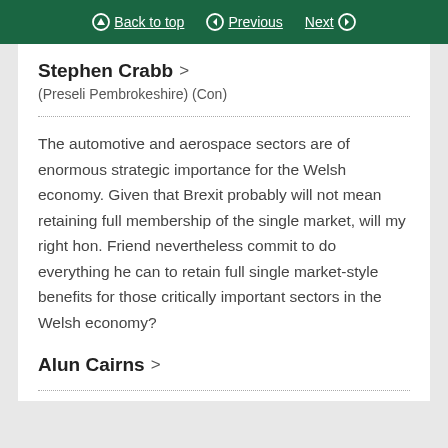Back to top  Previous  Next
Stephen Crabb
(Preseli Pembrokeshire) (Con)
The automotive and aerospace sectors are of enormous strategic importance for the Welsh economy. Given that Brexit probably will not mean retaining full membership of the single market, will my right hon. Friend nevertheless commit to do everything he can to retain full single market-style benefits for those critically important sectors in the Welsh economy?
Alun Cairns